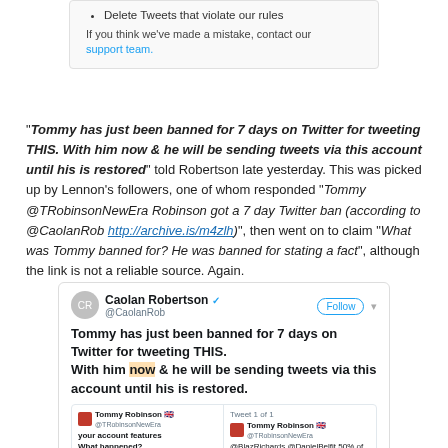Delete Tweets that violate our rules
If you think we've made a mistake, contact our support team.
“Tommy has just been banned for 7 days on Twitter for tweeting THIS. With him now & he will be sending tweets via this account until his is restored” told Robertson late yesterday. This was picked up by Lennon’s followers, one of whom responded “Tommy @TRobinsonNewEra Robinson got a 7 day Twitter ban (according to @CaolanRob http://archive.is/m4zlh)”, then went on to claim “What was Tommy banned for? He was banned for stating a fact”, although the link is not a reliable source. Again.
[Figure (screenshot): Screenshot of a tweet by Caolan Robertson (@CaolanRob, verified) with a Follow button. Tweet text: 'Tommy has just been banned for 7 days on Twitter for tweeting THIS. With him now & he will be sending tweets via this account until his is restored.' Embedded within is a screenshot of a Twitter account restriction notice for Tommy Robinson (@TRobinsonNewEra) on the left side, and on the right a tweet by Tommy Robinson quoting '@BlazRichards @DanielBelfit 50% of street grooming gang convictions are Muslims...' with a Delete button, and footer text about account being locked in error and the option to contact support.]